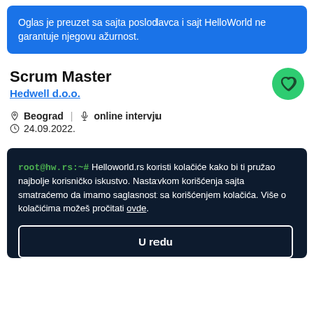Oglas je preuzet sa sajta poslodavca i sajt HelloWorld ne garantuje njegovu ažurnost.
Scrum Master
Hedwell d.o.o.
Beograd  |  online intervju
24.09.2022.
root@hw.rs:~# Helloworld.rs koristi kolačiće kako bi ti pružao najbolje korisničko iskustvo. Nastavkom korišćenja sajta smatraćemo da imamo saglasnost sa korišćenjem kolačića. Više o kolačićima možeš pročitati ovde.
U redu